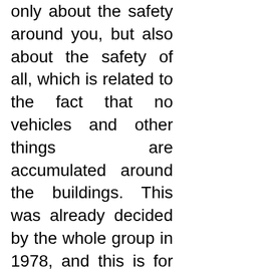only about the safety around you, but also about the safety of all, which is related to the fact that no vehicles and other things are accumulated around the buildings. This was already decided by the whole group in 1978, and this is for all time – that was the decision t...